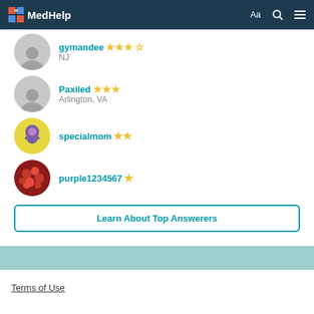MedHelp — Aa [search] [menu]
gymandee NJ — 3.5 stars
Paxiled Arlington, VA — 3 stars
specialmom — 2 stars
purple1234567 — 1 star
Learn About Top Answerers
Terms of Use